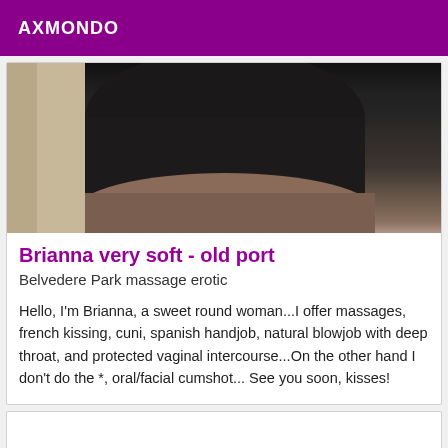AXMONDO
[Figure (photo): Partial photo of a person from the waist down wearing dark shorts, against a light wall background.]
Brianna very soft - old port
Belvedere Park massage erotic
Hello, I'm Brianna, a sweet round woman...I offer massages, french kissing, cuni, spanish handjob, natural blowjob with deep throat, and protected vaginal intercourse...On the other hand I don't do the *, oral/facial cumshot... See you soon, kisses!